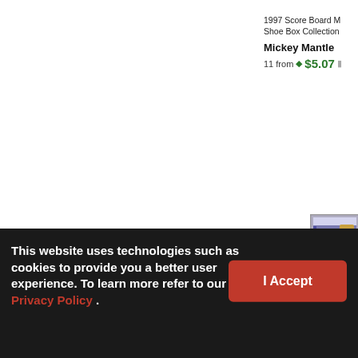1997 Score Board M Shoe Box Collection
Mickey Mantle
11 from $5.07
[Figure (photo): Trading card image showing blue background with handwritten text COM C and text Replacing A]
This website uses technologies such as cookies to provide you a better user experience. To learn more refer to our Privacy Policy .
I Accept
1997 Score Board M Shoe Box Collection
9 from $1.11